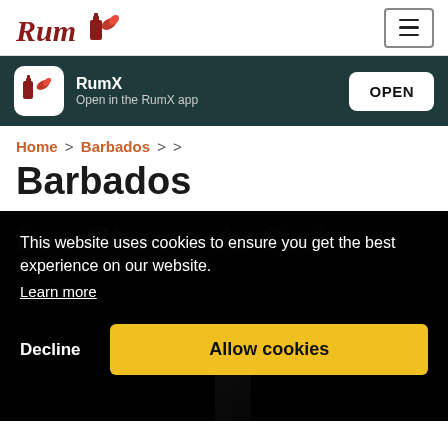[Figure (logo): RumX logo with stylized rum bottle icon and italic serif text 'Rum']
RumX
Open in the RumX app
OPEN
Home > Barbados > >
Barbados
Les Rhums du Sud
This website uses cookies to ensure you get the best experience on our website.
Learn more
Decline
Allow cookies